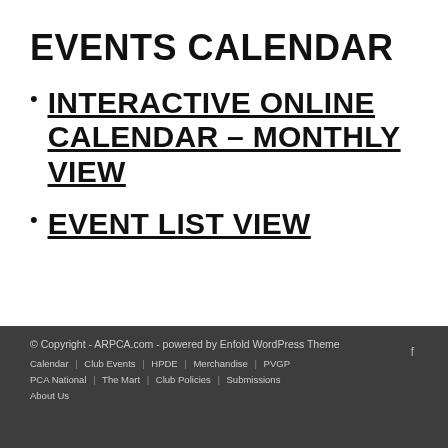EVENTS CALENDAR
INTERACTIVE ONLINE CALENDAR – MONTHLY VIEW
EVENT LIST VIEW
© Copyright - ARPCA.com - powered by Enfold WordPress Theme
f
Calendar | Club Events | HPDE | Merchandise | PVGP | PCA National | The Mart | Club Policies | Submissions | About Us